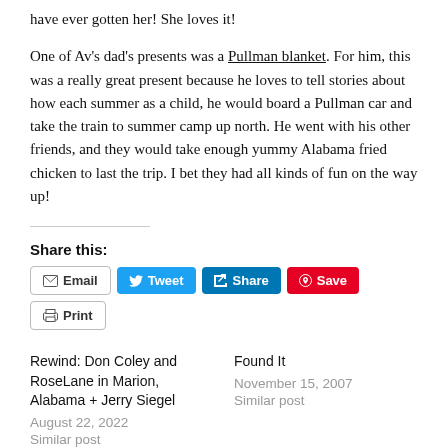have ever gotten her! She loves it!
One of Av's dad's presents was a Pullman blanket. For him, this was a really great present because he loves to tell stories about how each summer as a child, he would board a Pullman car and take the train to summer camp up north. He went with his other friends, and they would take enough yummy Alabama fried chicken to last the trip. I bet they had all kinds of fun on the way up!
Share this:
Rewind: Don Coley and RoseLane in Marion, Alabama + Jerry Siegel
August 22, 2022
Similar post
Found It
November 15, 2007
Similar post